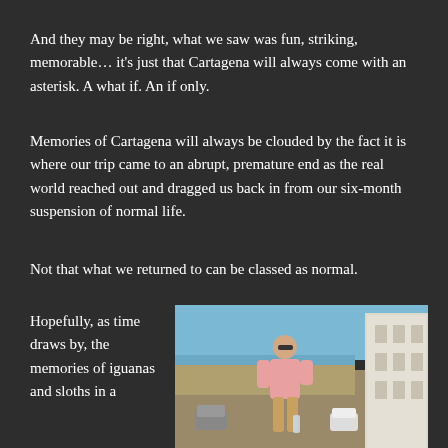And they may be right, what we saw was fun, striking, memorable… it's just that Cartagena will always come with an asterisk. A what if. An if only.
Memories of Cartagena will always be clouded by the fact it is where our trip came to an abrupt, premature end as the real world reached out and dragged us back in from our six-month suspension of normal life.
Not that what we returned to can be classed as normal.
Hopefully, as time draws by, the memories of iguanas and sloths in a
[Figure (photo): A man wearing sunglasses and a pink shirt sits on a wall in Cartagena, Colombia. Blue sky and a white colonial building are visible in the background, along with the sea.]